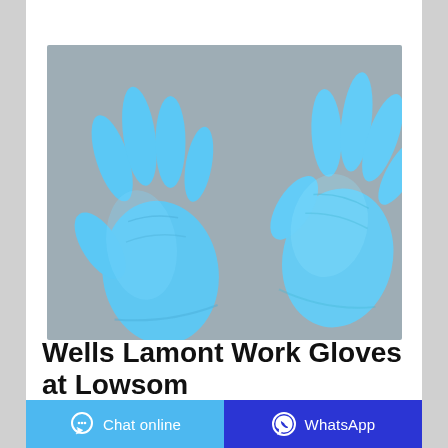[Figure (photo): Two blue nitrile/latex disposable gloves laid flat on a gray background. Left glove shows palm side, right glove shows back side.]
Wells Lamont Work Gloves at Lowsom
Chat online
WhatsApp